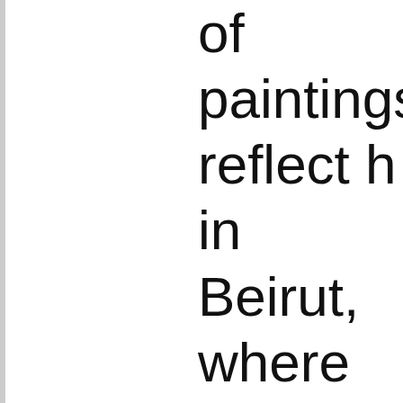of paintings reflect h in Beirut, where she an artist. A selection documents her publ with Post-Apollo Pre since the early 1980 in California, Fattal working in clay and sculptures. Includ